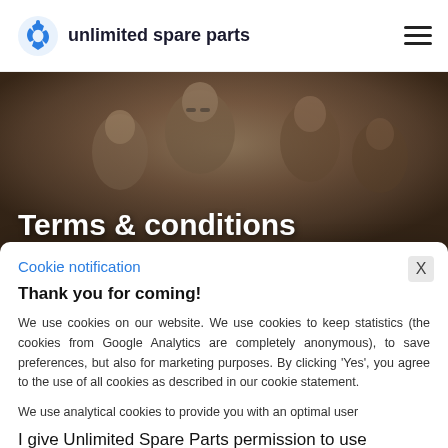[Figure (logo): Unlimited Spare Parts logo with blue stylized icon and company name]
Terms & conditions
Cookie notification
Thank you for coming!
We use cookies on our website. We use cookies to keep statistics (the cookies from Google Analytics are completely anonymous), to save preferences, but also for marketing purposes. By clicking 'Yes', you agree to the use of all cookies as described in our cookie statement.
We use analytical cookies to provide you with an optimal user
I give Unlimited Spare Parts permission to use tracking cookies: